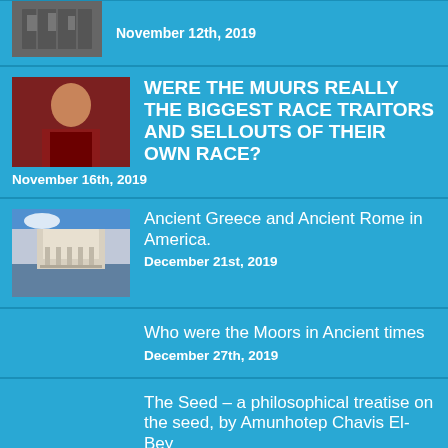[Figure (photo): Partial view of top article thumbnail - stone carved relief image]
November 12th, 2019
[Figure (photo): Portrait painting of a man in red and dark clothing]
WERE THE MUURS REALLY THE BIGGEST RACE TRAITORS AND SELLOUTS OF THEIR OWN RACE?
November 16th, 2019
[Figure (photo): Photo of a classical building with dome and columns]
Ancient Greece and Ancient Rome in America.
December 21st, 2019
Who were the Moors in Ancient times
December 27th, 2019
The Seed – a philosophical treatise on the seed, by Amunhotep Chavis El-Bey